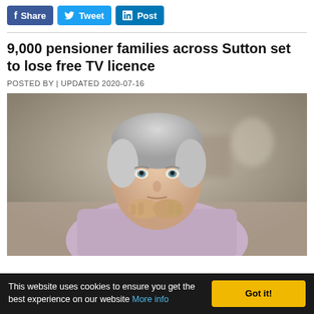[Figure (other): Social sharing buttons: Facebook Share, Twitter Tweet, LinkedIn Post]
9,000 pensioner families across Sutton set to lose free TV licence
POSTED BY | UPDATED 2020-07-16
[Figure (photo): Photo of an elderly woman with short grey hair, resting her chin on her clasped hands, looking thoughtful or worried. She is wearing a light purple/lavender top. The background is blurred indoor setting.]
This website uses cookies to ensure you get the best experience on our website More info